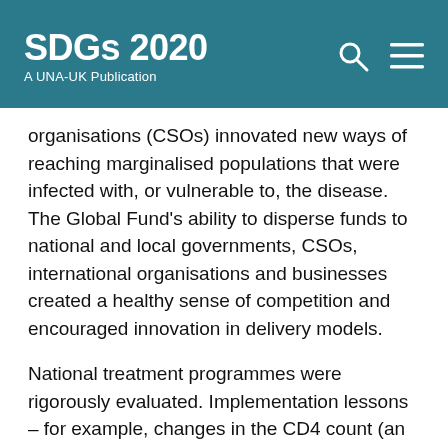SDGs 2020 A UNA-UK Publication
organisations (CSOs) innovated new ways of reaching marginalised populations that were infected with, or vulnerable to, the disease. The Global Fund’s ability to disperse funds to national and local governments, CSOs, international organisations and businesses created a healthy sense of competition and encouraged innovation in delivery models.
National treatment programmes were rigorously evaluated. Implementation lessons – for example, changes in the CD4 count (an indicator of immune system functionality) threshold at which antiretroviral treatment was recommended – were published in peer-reviewed literature and taken up in improved treatment guidelines adopted by the World Health